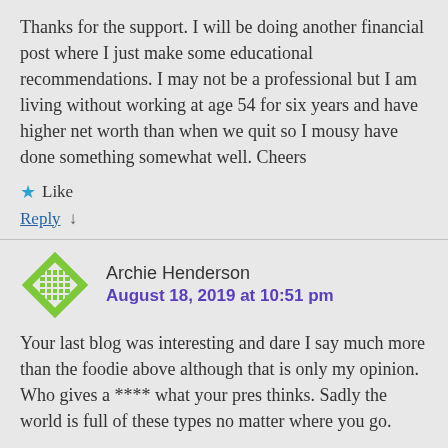Thanks for the support. I will be doing another financial post where I just make some educational recommendations. I may not be a professional but I am living without working at age 54 for six years and have higher net worth than when we quit so I mousy have done something somewhat well. Cheers
★ Like
Reply ↓
Archie Henderson
August 18, 2019 at 10:51 pm
Your last blog was interesting and dare I say much more than the foodie above although that is only my opinion. Who gives a **** what your pres thinks. Sadly the world is full of these types no matter where you go.
Enjoy the remainder of your time in Chiang Mai and keep the blog going please.
★ Like